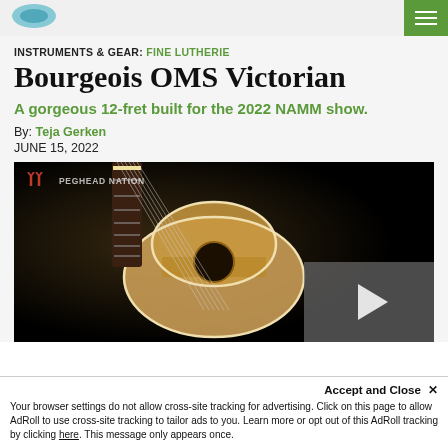PEGHEAD NATION [logo/nav bar]
INSTRUMENTS & GEAR: FINE LUTHERIE
Bourgeois OMS Victorian
A gorgeous 12-fret built for the 2022 NAMM show.
By: Teja Gerken
JUNE 15, 2022
[Figure (screenshot): Video thumbnail showing an acoustic guitar (Bourgeois OMS Victorian) on a dark background, with PEGHEAD NATION watermark and a play button overlay in the lower right.]
Accept and Close ×
Your browser settings do not allow cross-site tracking for advertising. Click on this page to allow AdRoll to use cross-site tracking to tailor ads to you. Learn more or opt out of this AdRoll tracking by clicking here. This message only appears once.